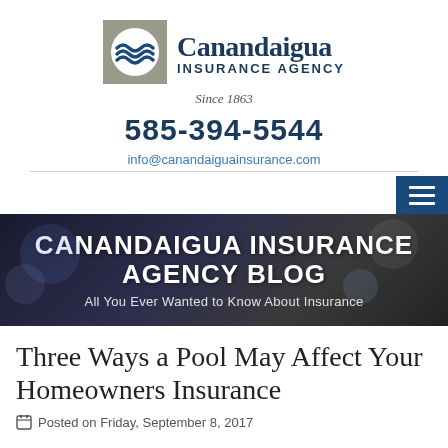[Figure (logo): Canandaigua Insurance Agency logo with wave icon in grey square and company name in dark navy serif font]
Since 1863
585-394-5544
info@canandaiguainsurance.com
[Figure (screenshot): Dark navy hamburger menu button with three white horizontal lines]
CANANDAIGUA INSURANCE AGENCY BLOG
All You Ever Wanted to Know About Insurance
Three Ways a Pool May Affect Your Homeowners Insurance
Posted on Friday, September 8, 2017